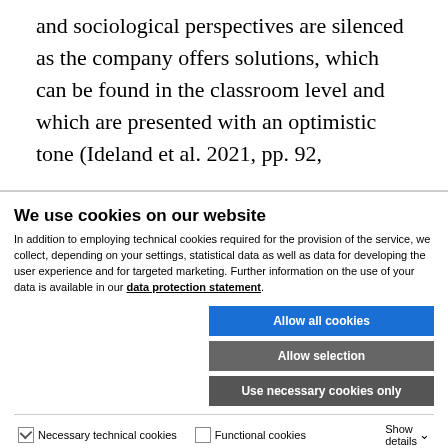and sociological perspectives are silenced as the company offers solutions, which can be found in the classroom level and which are presented with an optimistic tone (Ideland et al. 2021, pp. 92,
We use cookies on our website
In addition to employing technical cookies required for the provision of the service, we collect, depending on your settings, statistical data as well as data for developing the user experience and for targeted marketing. Further information on the use of your data is available in our data protection statement.
Allow all cookies
Allow selection
Use necessary cookies only
Necessary technical cookies   Functional cookies   Statistics cookies   Marketing cookies   Show details